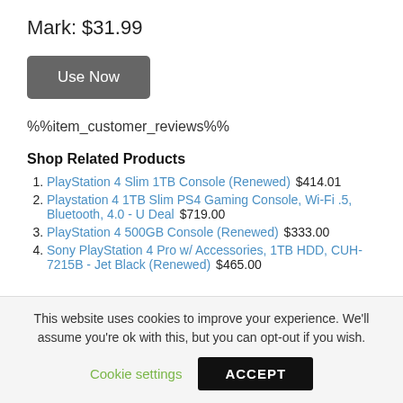Mark: $31.99
Use Now
%%item_customer_reviews%%
Shop Related Products
PlayStation 4 Slim 1TB Console (Renewed)    $414.01
Playstation 4 1TB Slim PS4 Gaming Console, Wi-Fi .5, Bluetooth, 4.0 - U Deal    $719.00
PlayStation 4 500GB Console (Renewed)    $333.00
Sony PlayStation 4 Pro w/ Accessories, 1TB HDD, CUH-7215B - Jet Black (Renewed)    $465.00
This website uses cookies to improve your experience. We'll assume you're ok with this, but you can opt-out if you wish.
Cookie settings   ACCEPT